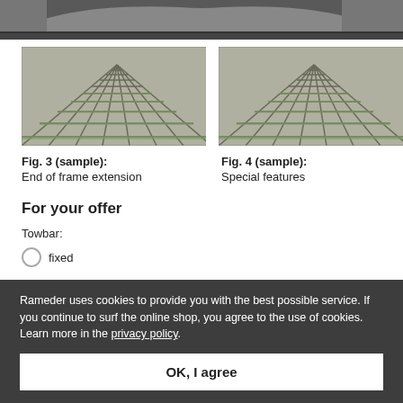[Figure (photo): Top partial image showing underside of a vehicle/trailer frame in dark gray, cropped at top]
[Figure (photo): Photo of interlocking stone pavement with green moss between stones, left column]
[Figure (photo): Photo of interlocking stone pavement with green moss between stones, right column]
Fig. 3 (sample): End of frame extension
Fig. 4 (sample): Special features
For your offer
Towbar:
fixed
Rameder uses cookies to provide you with the best possible service. If you continue to surf the online shop, you agree to the use of cookies. Learn more in the privacy policy.
OK, I agree